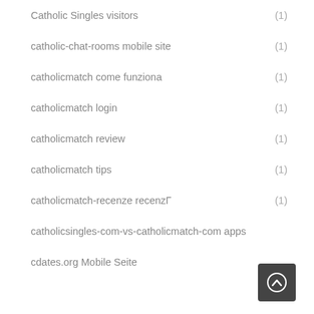Catholic Singles visitors (1)
catholic-chat-rooms mobile site (1)
catholicmatch come funziona (1)
catholicmatch login (1)
catholicmatch review (1)
catholicmatch tips (1)
catholicmatch-recenze recenzГ (1)
catholicsingles-com-vs-catholicmatch-com apps
cdates.org Mobile Seite